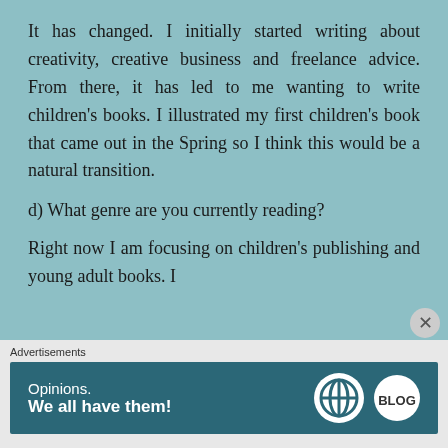It has changed. I initially started writing about creativity, creative business and freelance advice. From there, it has led to me wanting to write children's books. I illustrated my first children's book that came out in the Spring so I think this would be a natural transition.
d) What genre are you currently reading?
Right now I am focusing on children's publishing and young adult books. I
Advertisements
[Figure (infographic): Advertisement banner with dark teal background reading 'Opinions. We all have them!' with WordPress and another circular logo on the right.]